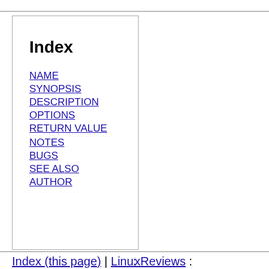Index
NAME
SYNOPSIS
DESCRIPTION
OPTIONS
RETURN VALUE
NOTES
BUGS
SEE ALSO
AUTHOR
Index (this page) | LinuxReviews : manual page archive : man1